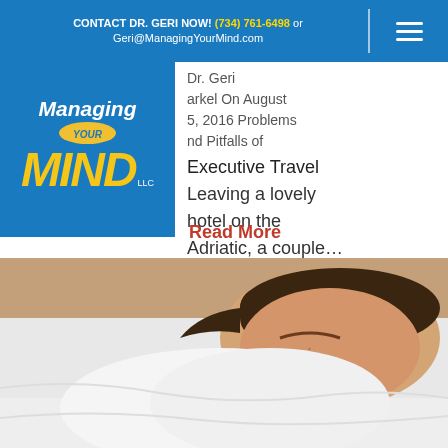CONTACT DR. GERI NOW! (734) 761-6498 or Geri@ManagingYourMind.com
[Figure (logo): Managing Your Mind LLC logo with blue background, yellow 'MIND' text and oval 'YOUR' badge]
Dr. Geri Markel On August 5, 2016 Problems and Pitfalls of Executive Travel Leaving a lovely hotel on the Adriatic, a couple…
Read More
[Figure (photo): Photo of a woman sleeping peacefully on white bed linens]